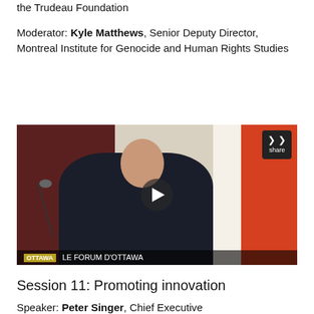the Trudeau Foundation
Moderator: Kyle Matthews, Senior Deputy Director, Montreal Institute for Genocide and Human Rights Studies
[Figure (screenshot): Video player screenshot showing a man speaking at a podium in front of flags (dark red and Canadian orange-red), with a play button overlay, a share button in the top right, and a lower bar reading 'OTTAWA LE FORUM D'OTTAWA']
Session 11: Promoting innovation
Speaker: Peter Singer, Chief Executive